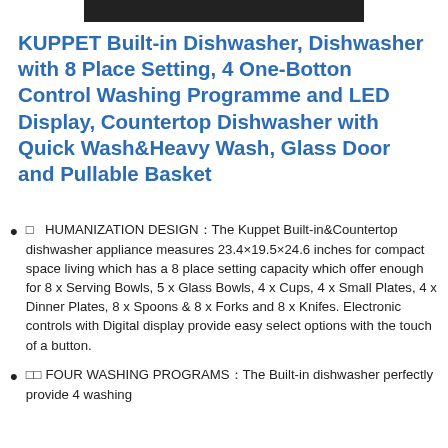[Figure (other): Black image bar at top of page]
KUPPET Built-in Dishwasher, Dishwasher with 8 Place Setting, 4 One-Botton Control Washing Programme and LED Display, Countertop Dishwasher with Quick Wash&Heavy Wash, Glass Door and Pullable Basket
🔲  HUMANIZATION DESIGN：The Kuppet Built-in&Countertop dishwasher appliance measures 23.4×19.5×24.6 inches for compact space living which has a 8 place setting capacity which offer enough for 8 x Serving Bowls, 5 x Glass Bowls, 4 x Cups, 4 x Small Plates, 4 x Dinner Plates, 8 x Spoons & 8 x Forks and 8 x Knifes. Electronic controls with Digital display provide easy select options with the touch of a button.
🔲🔲FOUR WASHING PROGRAMS：The Built-in dishwasher perfectly provide 4 washing programmes...